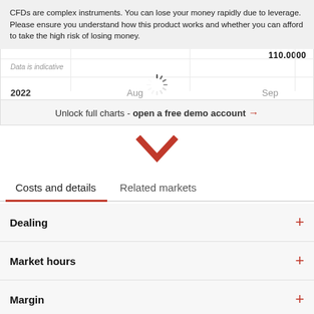CFDs are complex instruments. You can lose your money rapidly due to leverage. Please ensure you understand how this product works and whether you can afford to take the high risk of losing money.
[Figure (screenshot): Partial financial chart showing price 110.0000, with axis labels: 2022, Aug, Sep. Data is indicative. Chart is blurred/loading with a spinner overlay and an 'Unlock full charts - open a free demo account →' call-to-action bar.]
[Figure (other): Red downward chevron/arrow icon indicating scroll down]
Costs and details	Related markets
Dealing
Market hours
Margin